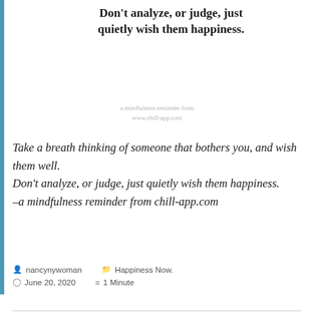Don't analyze, or judge, just quietly wish them happiness.
a mindfulness reminder from www.chill-app.com
Take a breath thinking of someone that bothers you, and wish them well.
Don't analyze, or judge, just quietly wish them happiness.
–a mindfulness reminder from chill-app.com
nancynywoman   Happiness Now.   June 20, 2020   1 Minute